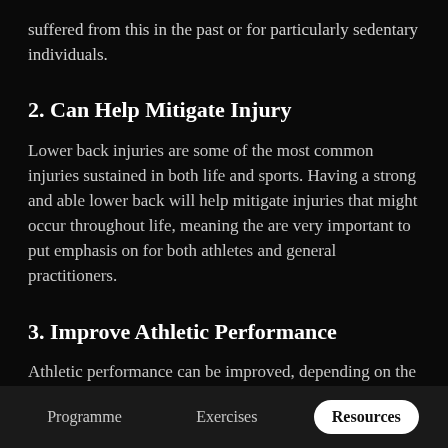suffered from this in the past or for particularly sedentary individuals.
2. Can Help Mitigate Injury
Lower back injuries are some of the most common injuries sustained in both life and sports. Having a strong and able lower back will help mitigate injuries that might occur throughout life, meaning the are very important to put emphasis on for both athletes and general practitioners.
3. Improve Athletic Performance
Athletic performance can be improved, depending on the sport, by having a strong lumbar spine. Take cor... exa... dramatically in positions that athletes find
Programme   Exercises   Resources